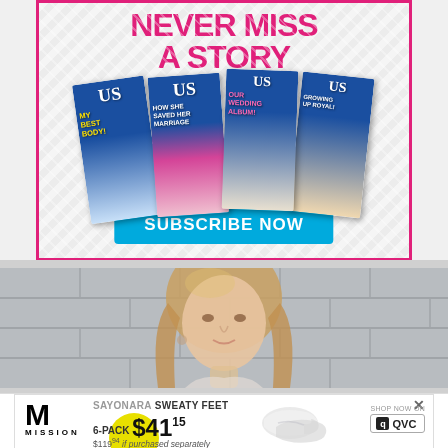[Figure (infographic): US Weekly magazine subscription advertisement with 'NEVER MISS A STORY' headline in pink, showing multiple magazine covers fanned out, with a cyan 'SUBSCRIBE NOW' button, bordered in pink.]
[Figure (photo): Photo of a blonde woman (Martha Stewart) from the shoulders up, photographed against a tiled wall background.]
[Figure (infographic): Mission brand advertisement for 6-Pack socks. Text reads: SAYONARA SWEATY FEET, 6-PACK $41.15, $119.94 if purchased separately. Shows sock image and QVC shop now logo. Has a yellow circle accent and X close button.]